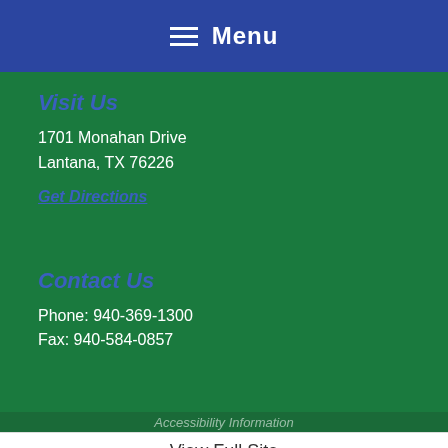Menu
Visit Us
1701 Monahan Drive
Lantana, TX 76226
Get Directions
Contact Us
Phone: 940-369-1300
Fax: 940-584-0857
Accessibility Information
View Full Site